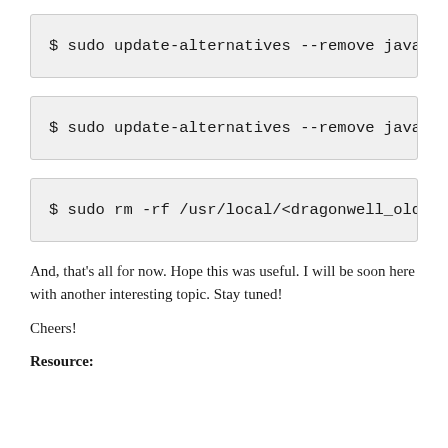$ sudo update-alternatives --remove java
$ sudo update-alternatives --remove java
$ sudo rm -rf /usr/local/<dragonwell_old
And, that's all for now. Hope this was useful. I will be soon here with another interesting topic. Stay tuned!
Cheers!
Resource: